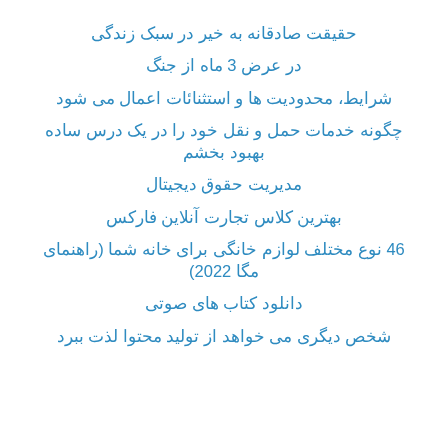حقیقت صادقانه به خیر در سبک زندگی
در عرض 3 ماه از جنگ
شرایط، محدودیت ها و استثنائات اعمال می شود
چگونه خدمات حمل و نقل خود را در یک درس ساده بهبود بخشم
مدیریت حقوق دیجیتال
بهترین کلاس تجارت آنلاین فارکس
46 نوع مختلف لوازم خانگی برای خانه شما (راهنمای مگا 2022)
دانلود کتاب های صوتی
شخص دیگری می خواهد از تولید محتوا لذت ببرد